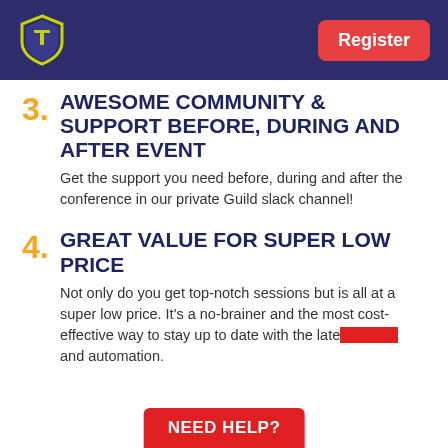Logo and Register button
3. AWESOME COMMUNITY & SUPPORT BEFORE, DURING AND AFTER EVENT
Get the support you need before, during and after the conference in our private Guild slack channel!
4. GREAT VALUE FOR SUPER LOW PRICE
Not only do you get top-notch sessions but is all at a super low price. It’s a no-brainer and the most cost-effective way to stay up to date with the late... and automation.
NEED HELP?